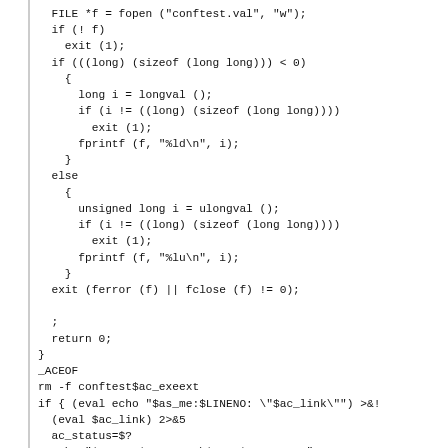FILE *f = fopen ("conftest.val", "w");
if (! f)
  exit (1);
if (((long) (sizeof (long long))) < 0)
  {
    long i = longval ();
    if (i != ((long) (sizeof (long long))))
      exit (1);
    fprintf (f, "%ld\n", i);
  }
else
  {
    unsigned long i = ulongval ();
    if (i != ((long) (sizeof (long long))))
      exit (1);
    fprintf (f, "%lu\n", i);
  }
exit (ferror (f) || fclose (f) != 0);

;
return 0;
}
_ACEOF
rm -f conftest$ac_exeext
if { (eval echo "$as_me:$LINENO: \"$ac_link\"") >&!
  (eval $ac_link) 2>&5
  ac_status=$?
  echo "$as_me:$LINENO: \$? = $ac_status" >&5
  (exit $ac_status); } && { ac_try='./conftest$ac_e
{ (eval echo "$as_me:$LINENO: \"$ac_try\"") >&5
  (eval $ac_try) 2>&5